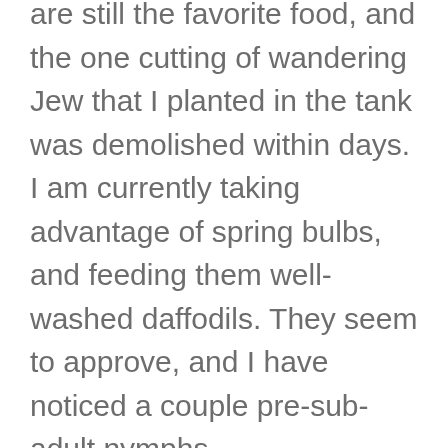are still the favorite food, and the one cutting of wandering Jew that I planted in the tank was demolished within days. I am currently taking advantage of spring bulbs, and feeding them well-washed daffodils. They seem to approve, and I have noticed a couple pre-sub-adult nymphs.
Interestingly, although I did not find any more oothecae than the original two despite a more thorough search, I noticed what appeared to be egg shells in the main tank itself. I am thinking I may have missed some oothecae in my searches because the original two oothecae were placed in 32-oz hatching cups. I estimate that the two oothecae hatched at least 60 nymphs together, so I may have over a hundred nymphs hiding in the plantings. I do not plan